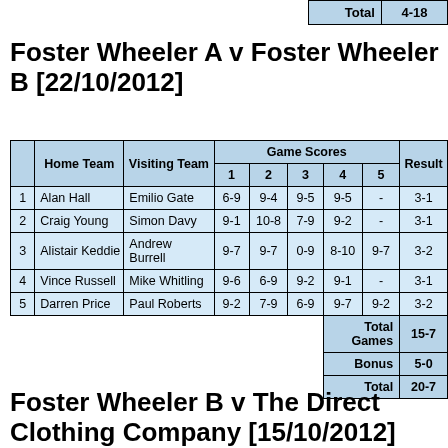| Total | 4-18 |
| --- | --- |
Foster Wheeler A v Foster Wheeler B [22/10/2012]
|  | Home Team | Visiting Team | 1 | 2 | 3 | 4 | 5 | Result |
| --- | --- | --- | --- | --- | --- | --- | --- | --- |
| 1 | Alan Hall | Emilio Gate | 6-9 | 9-4 | 9-5 | 9-5 | - | 3-1 |
| 2 | Craig Young | Simon Davy | 9-1 | 10-8 | 7-9 | 9-2 | - | 3-1 |
| 3 | Alistair Keddie | Andrew Burrell | 9-7 | 9-7 | 0-9 | 8-10 | 9-7 | 3-2 |
| 4 | Vince Russell | Mike Whitling | 9-6 | 6-9 | 9-2 | 9-1 | - | 3-1 |
| 5 | Darren Price | Paul Roberts | 9-2 | 7-9 | 6-9 | 9-7 | 9-2 | 3-2 |
| Total Games |  |  |  |  |  |  |  | 15-7 |
| Bonus |  |  |  |  |  |  |  | 5-0 |
| Total |  |  |  |  |  |  |  | 20-7 |
Foster Wheeler B v The Direct Clothing Company [15/10/2012]